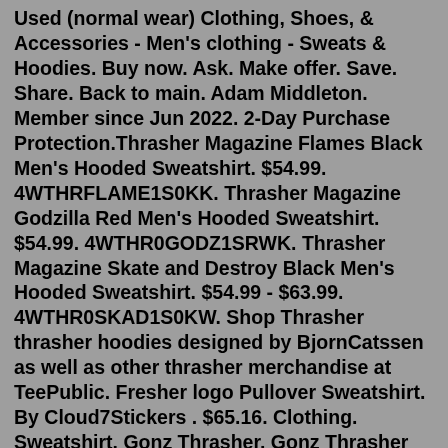Used (normal wear) Clothing, Shoes, & Accessories - Men's clothing - Sweats & Hoodies. Buy now. Ask. Make offer. Save. Share. Back to main. Adam Middleton. Member since Jun 2022. 2-Day Purchase Protection.Thrasher Magazine Flames Black Men's Hooded Sweatshirt. $54.99. 4WTHRFLAME1S0KK. Thrasher Magazine Godzilla Red Men's Hooded Sweatshirt. $54.99. 4WTHR0GODZ1SRWK. Thrasher Magazine Skate and Destroy Black Men's Hooded Sweatshirt. $54.99 - $63.99. 4WTHR0SKAD1S0KW. Shop Thrasher thrasher hoodies designed by BjornCatssen as well as other thrasher merchandise at TeePublic. Fresher logo Pullover Sweatshirt. By Cloud7Stickers . $65.16. Clothing. Sweatshirt. Gonz Thrasher. Gonz Thrasher hoodies and sweatshirts are expertly printed on ethically sourced, sweatshop-free apparel and available in a huge range of styles, colors and sizes. If you like your hoodies baggy, go two sizes up. Odkrij Thrasher pri Blue Tomato. Najboljša izbira že od